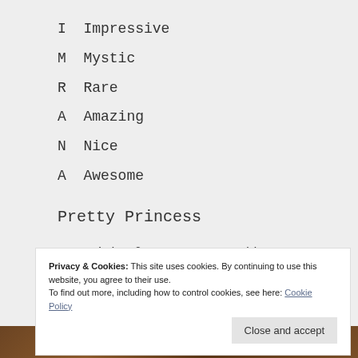I  Impressive
M  Mystic
R  Rare
A  Amazing
N  Nice
A  Awesome
Pretty Princess
Copyright © 2021 Suma Reddy
Privacy & Cookies: This site uses cookies. By continuing to use this website, you agree to their use.
To find out more, including how to control cookies, see here: Cookie Policy
[Figure (photo): Brown/wooden textured background photo strip at bottom of page]